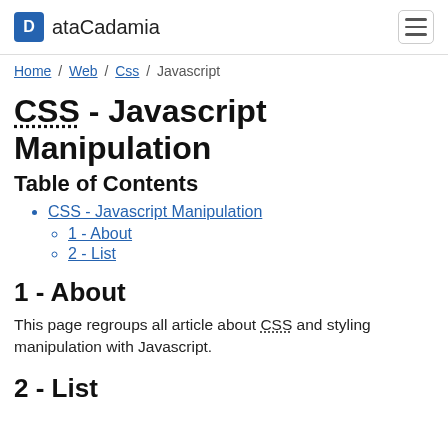ataCadamia
Home / Web / Css / Javascript
CSS - Javascript Manipulation
Table of Contents
CSS - Javascript Manipulation
1 - About
2 - List
1 - About
This page regroups all article about CSS and styling manipulation with Javascript.
2 - List